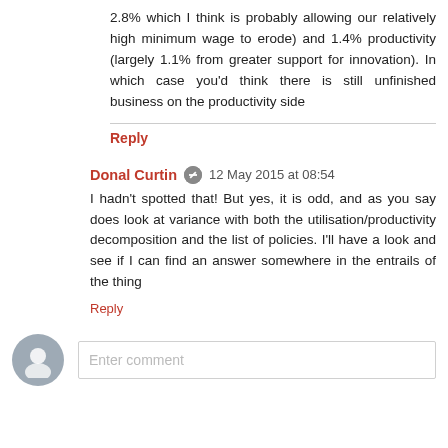2.8% which I think is probably allowing our relatively high minimum wage to erode) and 1.4% productivity (largely 1.1% from greater support for innovation). In which case you'd think there is still unfinished business on the productivity side
Reply
Donal Curtin  12 May 2015 at 08:54
I hadn't spotted that! But yes, it is odd, and as you say does look at variance with both the utilisation/productivity decomposition and the list of policies. I'll have a look and see if I can find an answer somewhere in the entrails of the thing
Reply
Enter comment